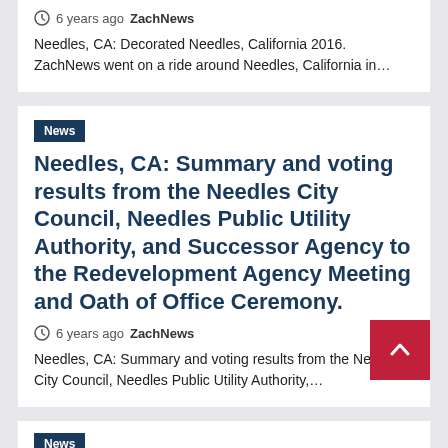6years ago  ZachNews
Needles, CA: Decorated Needles, California 2016. ZachNews went on a ride around Needles, California in…
News
Needles, CA: Summary and voting results from the Needles City Council, Needles Public Utility Authority, and Successor Agency to the Redevelopment Agency Meeting and Oath of Office Ceremony.
6years ago  ZachNews
Needles, CA: Summary and voting results from the Needles City Council, Needles Public Utility Authority,…
News